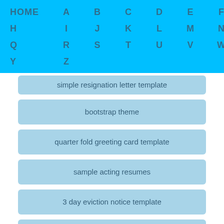HOME A B C D E F G H I J K L M N O P Q R S T U V W X Y Z
simple resignation letter template
bootstrap theme
quarter fold greeting card template
sample acting resumes
3 day eviction notice template
appreciation certificate template
basic job resume